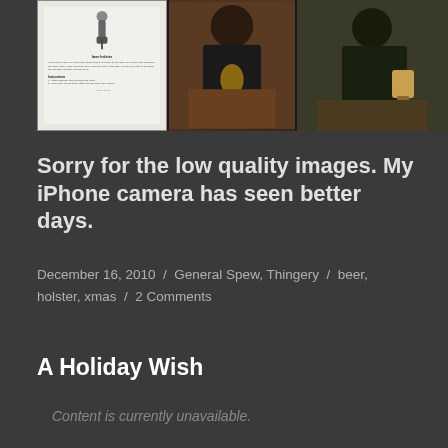[Figure (photo): Three photos: a printed document showing a beer holster product, and two photos of a person wearing a dark jacket carrying a beer holster]
Sorry for the low quality images. My iPhone camera has seen better days.
December 16, 2010 / General Spew, Thingery / beer, holster, xmas / 2 Comments
A Holiday Wish
Content is currently unavailable.